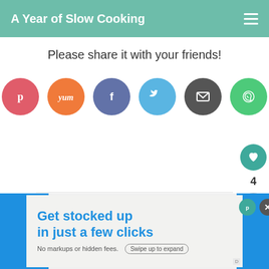A Year of Slow Cooking
Please share it with your friends!
[Figure (infographic): Six social sharing buttons: Pinterest (red), Yummly (orange), Facebook (purple), Twitter (blue), Email (dark grey), WhatsApp (green)]
[Figure (infographic): Side panel with heart/like button showing count of 4, and a share button]
Posted by: Stephanie O'Dea | A Year of Slow Cooking at July 14, 2018
[Figure (infographic): What's Next box: CrockPot Jalapeño... with thumbnail]
Labels: crockpot, dessert, fun stuff, gluten free, slow cooker, snacks, Stephanie O'Dea
[Figure (infographic): Advertisement banner: Get stocked up in just a few clicks. No markups or hidden fees. Swipe up to expand.]